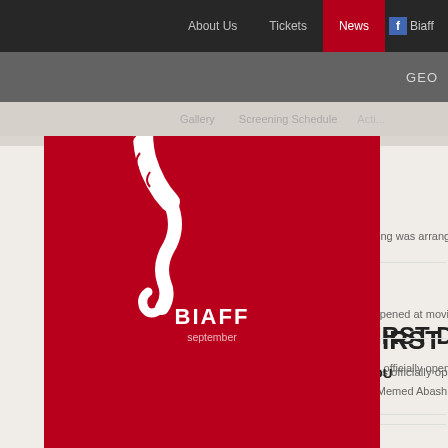About Us | Tickets | News | BIAFF (Facebook)
[Figure (logo): BIAFF seahorse logo on red background with text 'BIAFF' and 'september']
GEO
Gallery | Screening Schedule | ...
FIRST DAY
...s officially opened. First competition day began with the fil...
18.9.2012
BIAFF 2012 RECEPTION AT THE EMBASSY
In honour of the Turkish Film Director Nui Bilge Ceylan a meeting was arranged...
17.9.2012
BIAFF 2012 STARTED
On September 16, VII Batumi International Film Festival was opened at movie thea...
15.9.2012
BIAFF 2012 FILM SCREENINGS – DAILY SCHEDU...
BIAFF 2012 film screenings wil be held in:Cinema Apollo - 17 Memed Abashidze s...
13.9.2012